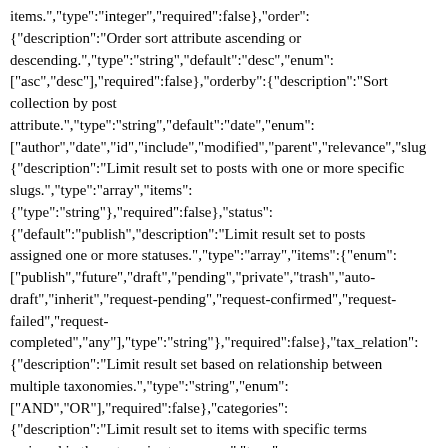items.","type":"integer","required":false},{"order": {"description":"Order sort attribute ascending or descending.","type":"string","default":"desc","enum": ["asc","desc"],"required":false},{"orderby":{"description":"Sort collection by post attribute.","type":"string","default":"date","enum": ["author","date","id","include","modified","parent","relevance","slug", {"description":"Limit result set to posts with one or more specific slugs.","type":"array","items": {"type":"string"},"required":false},{"status": {"default":"publish","description":"Limit result set to posts assigned one or more statuses.","type":"array","items":{"enum": ["publish","future","draft","pending","private","trash","auto-draft","inherit","request-pending","request-confirmed","request-failed","request-completed","any"],"type":"string"},"required":false},{"tax_relation": {"description":"Limit result set based on relationship between multiple taxonomies.","type":"string","enum": ["AND","OR"],"required":false},{"categories": {"description":"Limit result set to items with specific terms assigned in the categories taxonomy.","type": ["object","array"],"oneOf":[{"title":"Term ID List","description":"Match terms with the listed IDs.","type":"array","items":{"type":"integer"}},{"title":"Term ID Taxonomy Query","description":"Perform an advanced term